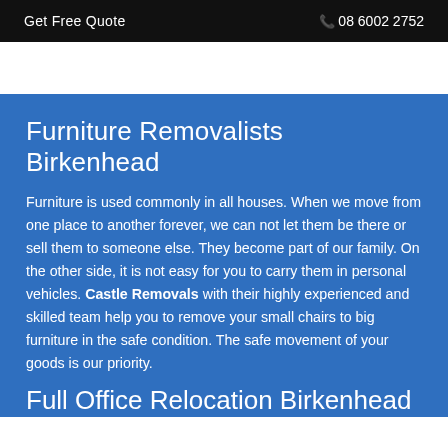Get Free Quote | 08 6002 2752
Furniture Removalists Birkenhead
Furniture is used commonly in all houses. When we move from one place to another forever, we can not let them be there or sell them to someone else. They become part of our family. On the other side, it is not easy for you to carry them in personal vehicles. Castle Removals with their highly experienced and skilled team help you to remove your small chairs to big furniture in the safe condition. The safe movement of your goods is our priority.
Full Office Relocation Birkenhead